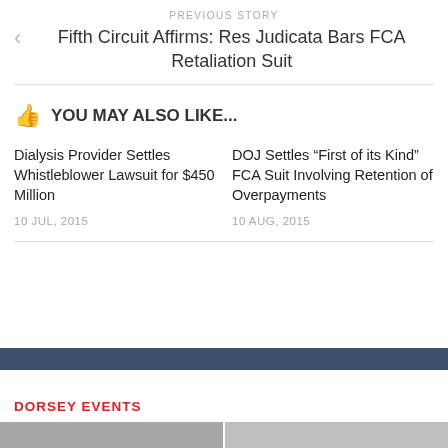PREVIOUS STORY
Fifth Circuit Affirms: Res Judicata Bars FCA Retaliation Suit
YOU MAY ALSO LIKE...
Dialysis Provider Settles Whistleblower Lawsuit for $450 Million
10 JUL, 2015
DOJ Settles “First of its Kind” FCA Suit Involving Retention of Overpayments
10 AUG, 2015
DORSEY EVENTS
[Figure (photo): Partial photo strip showing two images at the bottom of the page]